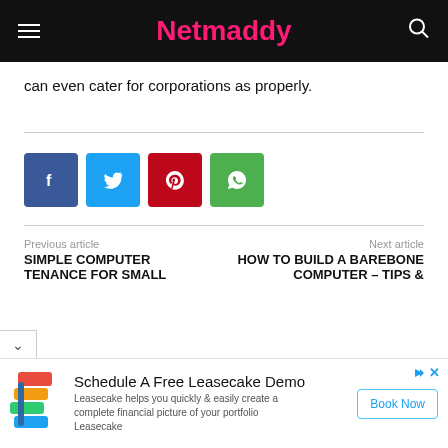Netmaddy
can even cater for corporations as properly.
[Figure (other): Social share buttons: Facebook, Twitter, Pinterest, WhatsApp]
Previous article
SIMPLE COMPUTER TENANCE FOR SMALL
Next article
HOW TO BUILD A BAREBONE COMPUTER – TIPS &
[Figure (other): Advertisement banner: Schedule A Free Leasecake Demo. Leasecake helps you quickly & easily create a complete financial picture of your portfolio. Book Now button.]